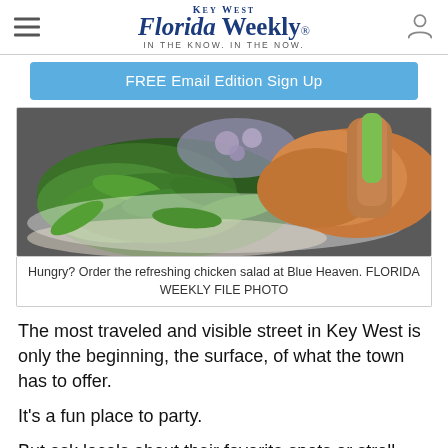Key West Florida Weekly — IN THE KNOW. IN THE NOW.
FREE Email Edition Sign Up
[Figure (photo): Close-up photo of a chicken salad dish with arugula greens and other ingredients on a white plate, being held by a person]
Hungry? Order the refreshing chicken salad at Blue Heaven. FLORIDA WEEKLY FILE PHOTO
The most traveled and visible street in Key West is only the beginning, the surface, of what the town has to offer.
It's a fun place to party.
But ask locals about their favorite spots or stroll through quiet neighborhoods and down alleyways off Duval, and you'll be startled and amazed at what the visitors usually...